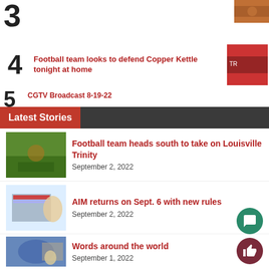3
[Figure (photo): Small thumbnail photo cropped at top right]
4
Football team looks to defend Copper Kettle tonight at home
[Figure (photo): People in red shirts, football game thumbnail]
5
CGTV Broadcast 8-19-22
Latest Stories
[Figure (photo): Football game action thumbnail]
Football team heads south to take on Louisville Trinity
September 2, 2022
[Figure (photo): Student at computer thumbnail]
AIM returns on Sept. 6 with new rules
September 2, 2022
[Figure (photo): Map and student thumbnail]
Words around the world
September 1, 2022
CGTV Broadcast 8-8-22